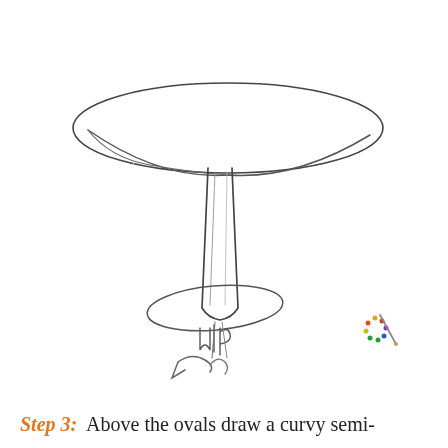[Figure (illustration): Pencil sketch of a mushroom in progress, showing a large flat cap (wide oval/ellipse) at top with a cylindrical stem, and below it two more overlapping ovals getting progressively smaller, suggesting a step-by-step drawing tutorial for a mushroom shape. A small artist palette logo appears in the lower right area of the illustration.]
Step 3:  Above the ovals draw a curvy semi-